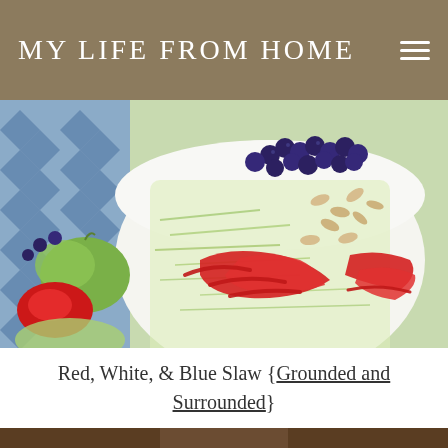MY LIFE FROM HOME
[Figure (photo): A white bowl filled with shredded cabbage slaw topped with blueberries, sliced red bell peppers, and sliced almonds, placed on a blue and white chevron cloth with a halved green apple and blueberries visible on the side.]
Red, White, & Blue Slaw {Grounded and Surrounded}
[Figure (photo): Partial view of a second photo showing a dark wooden background with patriotic decorations.]